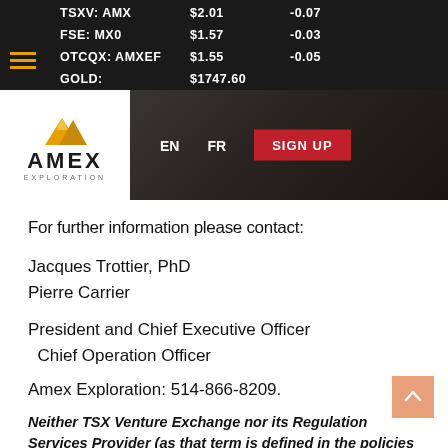TSXV: AMX $2.01 -0.07 | FSE: MX0 $1.57 -0.03 | OTCQX: AMXEF $1.55 -0.05 | GOLD: $1747.60
[Figure (logo): Amex Exploration logo with yellow mountain icon and company name, with EN/FR language links and red SIGN UP button]
For further information please contact:
Jacques Trottier, PhD
Pierre Carrier
President and Chief Executive Officer
  Chief Operation Officer
Amex Exploration: 514-866-8209.
Neither TSX Venture Exchange nor its Regulation Services Provider (as that term is defined in the policies